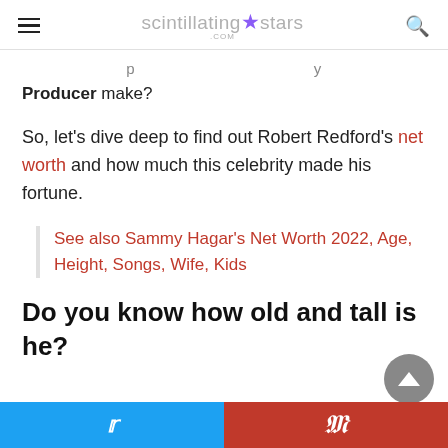scintillating★stars.com
Producer make?
So, let's dive deep to find out Robert Redford's net worth and how much this celebrity made his fortune.
See also Sammy Hagar's Net Worth 2022, Age, Height, Songs, Wife, Kids
Do you know how old and tall is he?